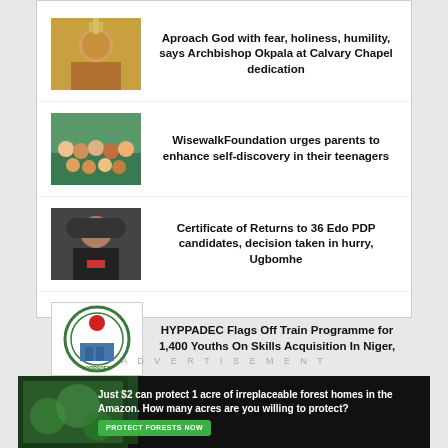Aproach God with fear, holiness, humility, says Archbishop Okpala at Calvary Chapel dedication
WisewalkFoundation urges parents to enhance self-discovery in their teenagers
Certificate of Returns to 36 Edo PDP candidates, decision taken in hurry, Ugbomhe
HYPPADEC Flags Off Train Programme for 1,400 Youths On Skills Acquisition In Niger,
ADVERTISEMENT
[Figure (photo): Advertisement banner: Just $2 can protect 1 acre of irreplaceable forest homes in the Amazon. How many acres are you willing to protect? PROTECT FORESTS NOW]